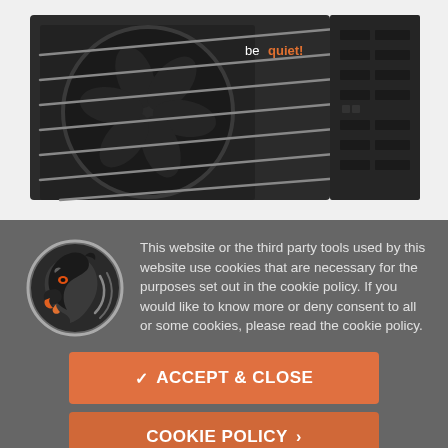[Figure (photo): A be quiet! brand PC power supply unit (PSU) in dark/black color, showing the fan grill side and connector panel side, photographed on white background at an angle.]
[Figure (logo): A circular logo featuring a stylized horse/dragon head in dark colors with orange accents, with a circular border design.]
This website or the third party tools used by this website use cookies that are necessary for the purposes set out in the cookie policy. If you would like to know more or deny consent to all or some cookies, please read the cookie policy.
✓ ACCEPT & CLOSE
COOKIE POLICY >